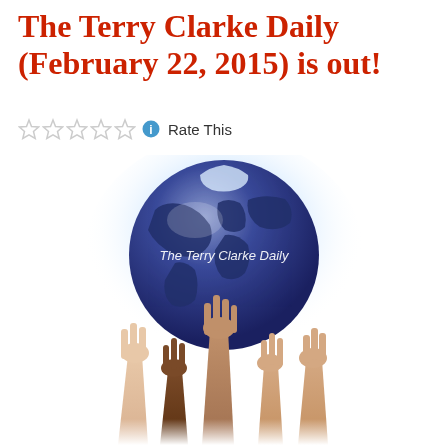The Terry Clarke Daily (February 22, 2015) is out!
Rate This
[Figure (illustration): Illustration of a blue globe with the text 'The Terry Clarke Daily' on it, held up by many diverse hands reaching upward from below, with a soft blue glowing background behind the globe.]